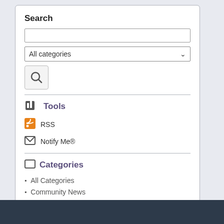Search
[Figure (screenshot): Search input field (text box), dropdown selector showing 'All categories', and a search button with magnifying glass icon]
Tools
RSS
Notify Me®
Categories
All Categories
Community News